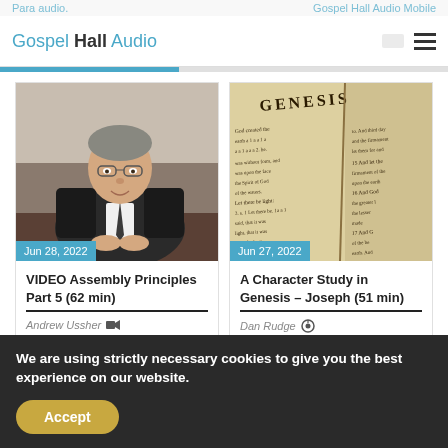Gospel Hall Audio
[Figure (photo): Photo of a man in a dark suit and tie sitting at a table, date badge Jun 28, 2022]
VIDEO Assembly Principles Part 5 (62 min)
Andrew Ussher [video icon]
[Figure (photo): Photo of an open Bible showing the book of Genesis, date badge Jun 27, 2022]
A Character Study in Genesis – Joseph (51 min)
Dan Rudge [audio icon]
We are using strictly necessary cookies to give you the best experience on our website.
Accept